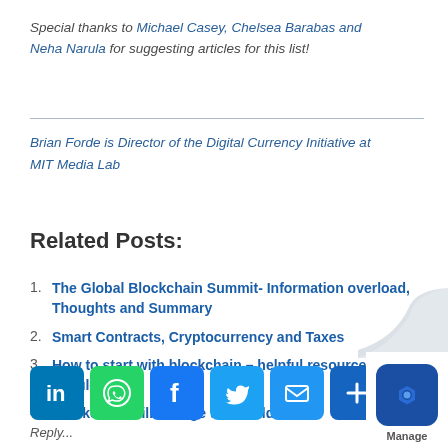Special thanks to Michael Casey, Chelsea Barabas and Neha Narula for suggesting articles for this list!
Brian Forde is Director of the Digital Currency Initiative at MIT Media Lab
Related Posts:
The Global Blockchain Summit- Information overload, Thoughts and Summary
Smart Contracts, Cryptocurrency and Taxes
How to start with blockchain – helpful resources you should know
Blockchain will change the World?!
[Figure (other): Social sharing buttons: LinkedIn, WhatsApp, Facebook, Twitter, Email, Plus, and Manage badge]